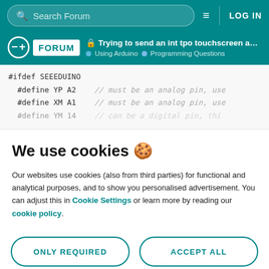Search Forum  LOG IN
FORUM  Trying to send an int tpo touchscreen as ...  Using Arduino  Programming Questions
#ifdef SEEEDUINO
  #define YP A2   // must be an analog pin, use
  #define XM A1   // must be an analog pin, use
  #define YM 14   // can be a digital pin, thi
We use cookies 🍪
Our websites use cookies (also from third parties) for functional and analytical purposes, and to show you personalised advertisement. You can adjust this in Cookie Settings or learn more by reading our cookie policy.
ONLY REQUIRED
ACCEPT ALL